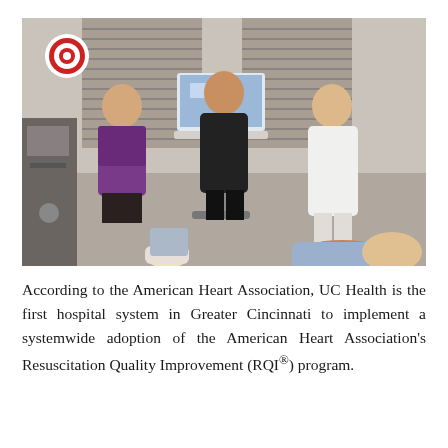[Figure (photo): Three women standing in a medical training room. Two in casual/business attire and one in a white lab coat. A laptop on a medical cart is in the center. CPR training manikins are visible in the foreground — a small infant manikin and a large adult manikin. Medical equipment and blinds are in the background.]
According to the American Heart Association, UC Health is the first hospital system in Greater Cincinnati to implement a systemwide adoption of the American Heart Association's Resuscitation Quality Improvement (RQI®) program.